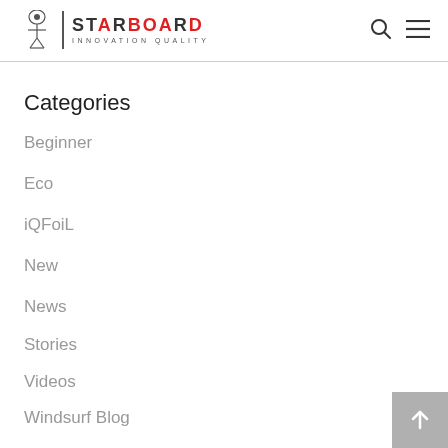STARBOARD INNOVATION QUALITY
Categories
Beginner
Eco
iQFoiL
New
News
Stories
Videos
Windsurf Blog